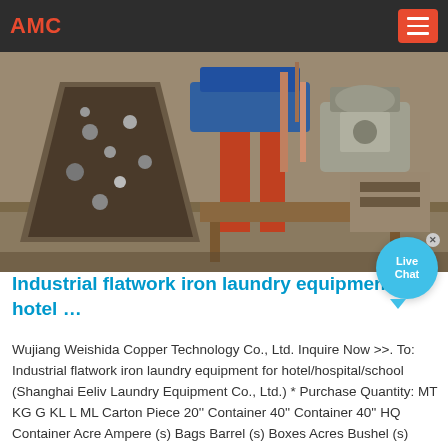AMC
[Figure (photo): Industrial flatwork iron laundry machinery on a workshop floor with various mechanical components, conveyor, and motors visible]
Industrial flatwork iron laundry equipment for hotel …
Wujiang Weishida Copper Technology Co., Ltd. Inquire Now >>. To: Industrial flatwork iron laundry equipment for hotel/hospital/school (Shanghai Eeliv Laundry Equipment Co., Ltd.) * Purchase Quantity: MT KG G KL L ML Carton Piece 20'' Container 40'' Container 40'' HQ Container Acre Ampere (s) Bags Barrel (s) Boxes Acres Bushel (s) Carat (s) Case (s ...